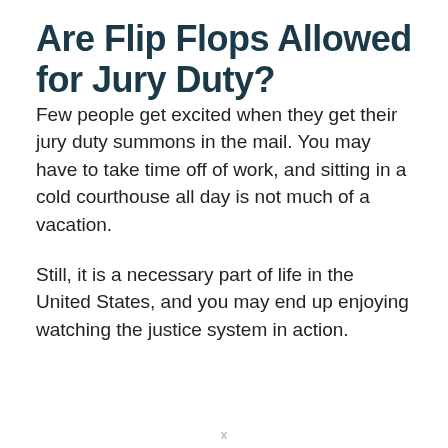Are Flip Flops Allowed for Jury Duty?
Few people get excited when they get their jury duty summons in the mail. You may have to take time off of work, and sitting in a cold courthouse all day is not much of a vacation.
Still, it is a necessary part of life in the United States, and you may end up enjoying watching the justice system in action.
x